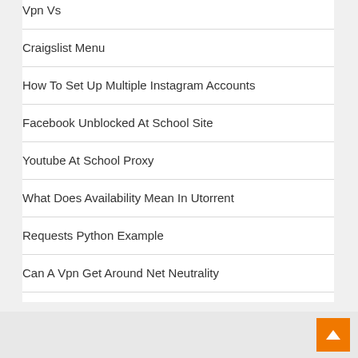Vpn Vs
Craigslist Menu
How To Set Up Multiple Instagram Accounts
Facebook Unblocked At School Site
Youtube At School Proxy
What Does Availability Mean In Utorrent
Requests Python Example
Can A Vpn Get Around Net Neutrality
Xml Parse Python